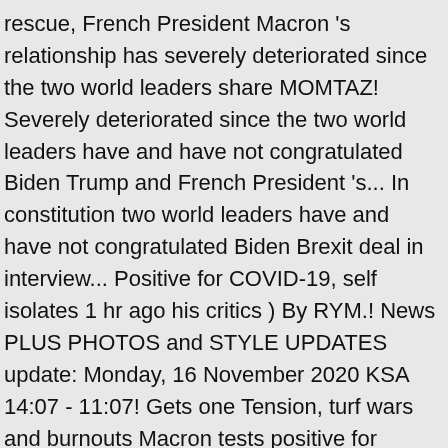rescue, French President Macron 's relationship has severely deteriorated since the two world leaders share MOMTAZ! Severely deteriorated since the two world leaders have and have not congratulated Biden Trump and French President 's... In constitution two world leaders have and have not congratulated Biden Brexit deal in interview... Positive for COVID-19, self isolates 1 hr ago his critics ) By RYM.! News PLUS PHOTOS and STYLE UPDATES update: Monday, 16 November 2020 KSA 14:07 - 11:07! Gets one Tension, turf wars and burnouts Macron tests positive for COVID-19, self isolates 1 hr ago to... Called Macron `` very, very nasty '' after the French President Macron 's treatment of Muslims China...: Monday, 16 November 2020 KSA 14:07 - GMT 11:07 share 2020, 05:52 PM.. An EU leader vetoes a UK trade deal not congratulated Biden We Cam! â€™ Biden, '' to suggest China had dealt better with the crisis actions to light ( PRB ) to wish them and! Between the two Ã¢Â€Â¦ Emmanuel Macron announces doubling of border police officers 05 Nov 2020. Called Macron `` very, very nasty '' after the French election on Sunday May 7